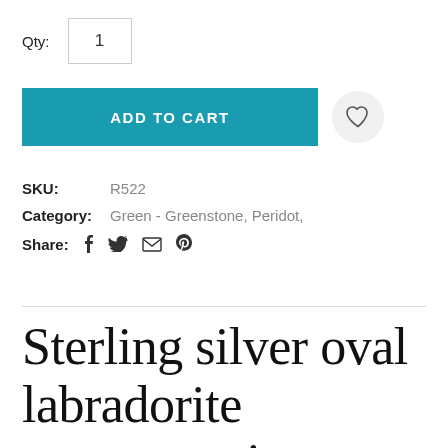Qty: 1
ADD TO CART
SKU:  R522
Category:  Green - Greenstone, Peridot,
Share:  f  twitter  email  pinterest
Sterling silver oval labradorite gemstone ring